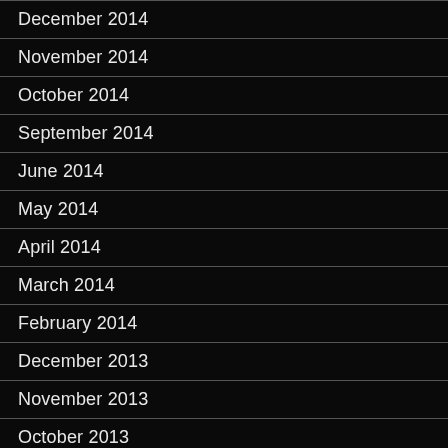December 2014
November 2014
October 2014
September 2014
June 2014
May 2014
April 2014
March 2014
February 2014
December 2013
November 2013
October 2013
September 2013